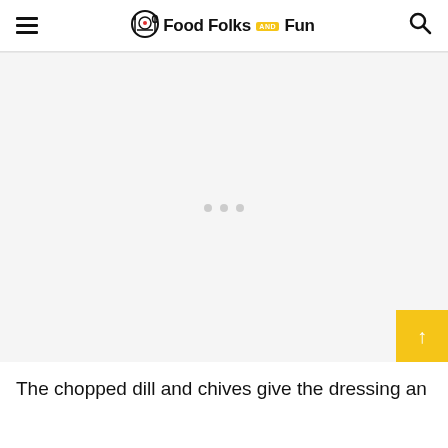Food Folks and Fun
[Figure (other): Advertisement placeholder with three grey dots centered in a light grey rectangle, and a yellow scroll-to-top button in the bottom right corner]
The chopped dill and chives give the dressing an